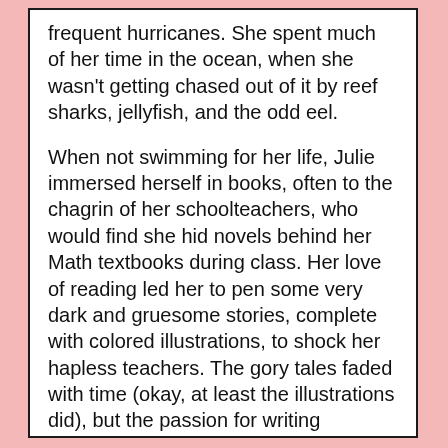frequent hurricanes. She spent much of her time in the ocean, when she wasn't getting chased out of it by reef sharks, jellyfish, and the odd eel.
When not swimming for her life, Julie immersed herself in books, often to the chagrin of her schoolteachers, who would find she hid novels behind her Math textbooks during class. Her love of reading led her to pen some very dark and gruesome stories, complete with colored illustrations, to shock her hapless teachers. The gory tales faded with time (okay, at least the illustrations did), but the passion for writing remained, long after she graduated and was supposed to get a real job.
To pay the rent, Julie worked in different bookstores over the years, but discovered the managers frowned upon her reading the books she was supposed to be shelving. So she turned to